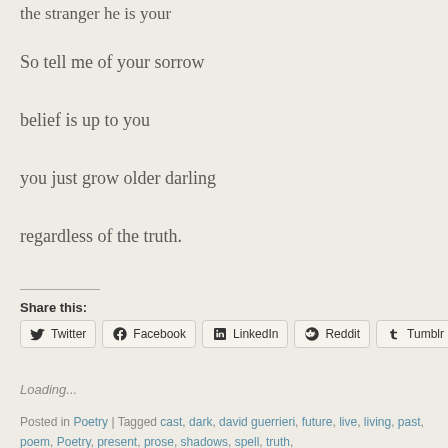the stranger he is your
So tell me of your sorrow
belief is up to you
you just grow older darling
regardless of the truth.
Share this:
Twitter Facebook LinkedIn Reddit Tumblr
Loading...
Posted in Poetry | Tagged cast, dark, david guerrieri, future, live, living, past, poem, Poetry, present, prose, shadows, spell, truth,